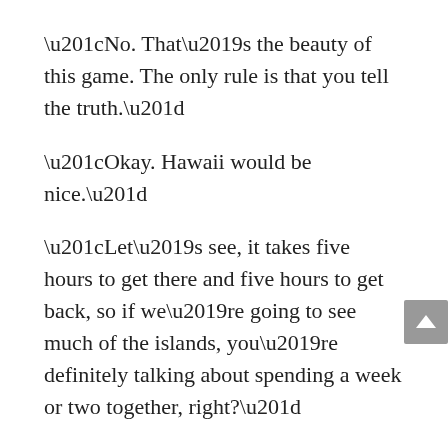“No. That’s the beauty of this game. The only rule is that you tell the truth.”
“Okay. Hawaii would be nice.”
“Let’s see, it takes five hours to get there and five hours to get back, so if we’re going to see much of the islands, you’re definitely talking about spending a week or two together, right?”
Maggie gulped, envisioning a long romantic getaway with the dangerous Nick Sorenson. “I was only teasing. I’d like to go water skiing at Lake Folsom—an all day event. I haven’t been on a pair of skis since college. But you probably don’t own a boat.”
“I could always rent one.”